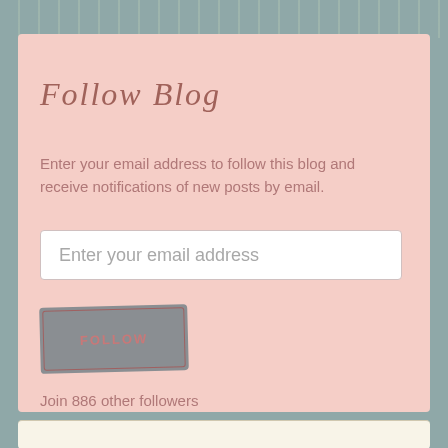Follow Blog
Enter your email address to follow this blog and receive notifications of new posts by email.
Enter your email address
FOLLOW
Join 886 other followers